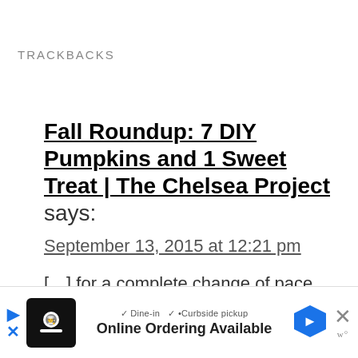TRACKBACKS
Fall Roundup: 7 DIY Pumpkins and 1 Sweet Treat | The Chelsea Project says:
September 13, 2015 at 12:21 pm
[…] for a complete change of pace, the fabulous Anita, who blogs at Live Like You Are Rich, explains how…
[Figure (other): Advertisement bar at the bottom: Online Ordering Available, with restaurant logo, map pin icon, and close button]